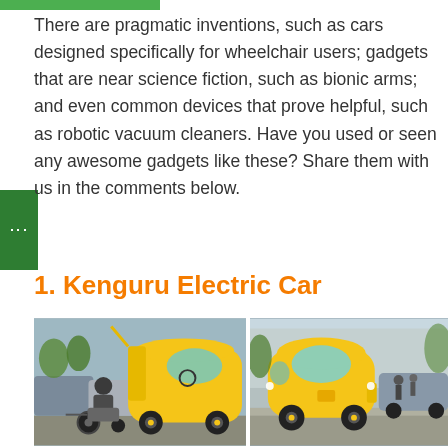There are pragmatic inventions, such as cars designed specifically for wheelchair users; gadgets that are near science fiction, such as bionic arms; and even common devices that prove helpful, such as robotic vacuum cleaners. Have you used or seen any awesome gadgets like these? Share them with us in the comments below.
1. Kenguru Electric Car
[Figure (photo): Two photos of the Kenguru electric car, a small yellow vehicle designed for wheelchair users. Left photo shows a person in a wheelchair entering the car from the rear. Right photo shows the closed Kenguru car parked on a street.]